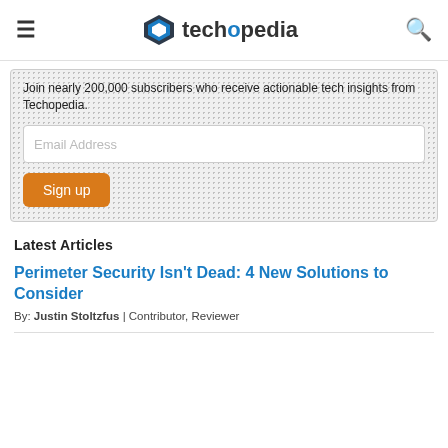techopedia
Join nearly 200,000 subscribers who receive actionable tech insights from Techopedia.
Email Address
Sign up
Latest Articles
Perimeter Security Isn't Dead: 4 New Solutions to Consider
By: Justin Stoltzfus | Contributor, Reviewer